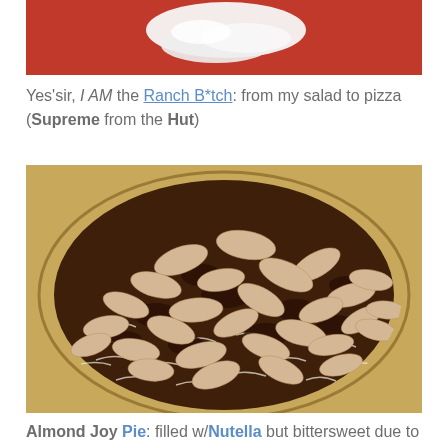[Figure (photo): Top portion of a photo showing a red plate with white cream/dressing, partially cropped]
Yes'sir, I AM the Ranch B*tch: from my salad to pizza (Supreme from the Hut)
[Figure (photo): An Almond Joy Pie in a pie tin, topped with sliced almonds, shredded coconut, and chocolate filling, viewed from above]
Almond Joy Pie: filled w/Nutella but bittersweet due to the